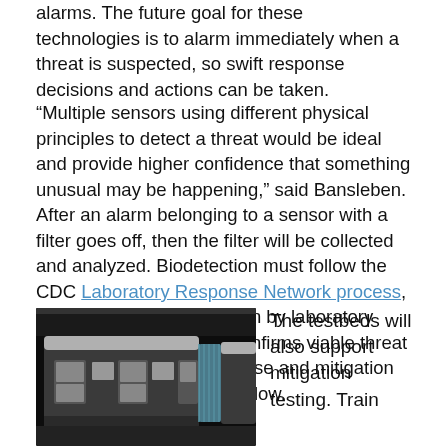alarms. The future goal for these technologies is to alarm immediately when a threat is suspected, so swift response decisions and actions can be taken.
“Multiple sensors using different physical principles to detect a threat would be ideal and provide higher confidence that something unusual may be happening,” said Bansleben.
After an alarm belonging to a sensor with a filter goes off, then the filter will be collected and analyzed. Biodetection must follow the CDC Laboratory Response Network process, which requires confirmation by laboratory analysis. If the analysis confirms viable threat bacteria or viruses, response and mitigation actions will immediately follow.
[Figure (illustration): 3D rendering of a subway/train car exterior viewed from a low angle, showing dark metallic body with windows and doors, set against a dark background.]
The testbeds will also support mitigation testing. Train